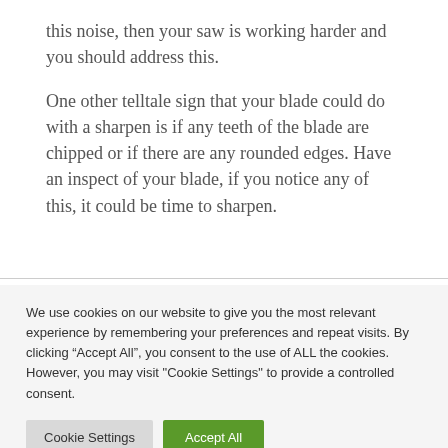this noise, then your saw is working harder and you should address this.
One other telltale sign that your blade could do with a sharpen is if any teeth of the blade are chipped or if there are any rounded edges. Have an inspect of your blade, if you notice any of this, it could be time to sharpen.
We use cookies on our website to give you the most relevant experience by remembering your preferences and repeat visits. By clicking “Accept All”, you consent to the use of ALL the cookies. However, you may visit "Cookie Settings" to provide a controlled consent.